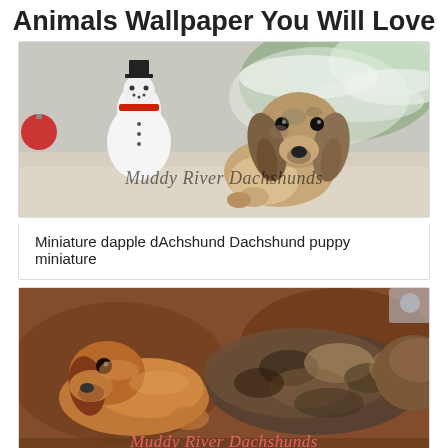Animals Wallpaper You Will Love
[Figure (photo): Miniature dapple dachshund puppy sitting in front of a Christmas scene with a snowman and snowy tree branches. Watermark reads 'Muddy River Dachshunds'.]
Miniature dapple dAchshund Dachshund puppy miniature
[Figure (photo): Two dachshund puppies lying together on a brown blanket, showing dapple coloring. Watermark reads 'Muddy River Dachshunds' in pink.]